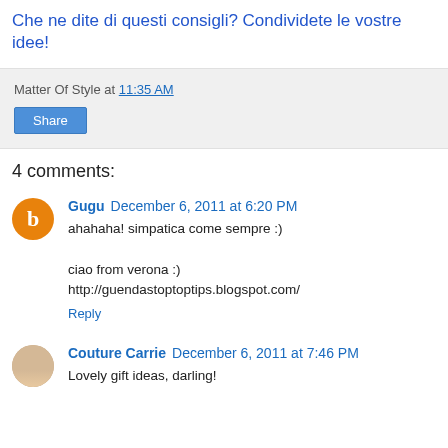Che ne dite di questi consigli? Condividete le vostre idee!
Matter Of Style at 11:35 AM
Share
4 comments:
Gugu December 6, 2011 at 6:20 PM
ahahaha! simpatica come sempre :)

ciao from verona :)
http://guendastoptoptips.blogspot.com/
Reply
Couture Carrie December 6, 2011 at 7:46 PM
Lovely gift ideas, darling!